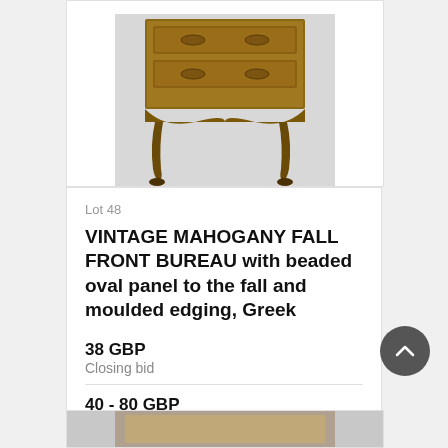[Figure (photo): Partial view of a vintage mahogany fall front bureau, showing lower portion with decorative carved apron and cabriole legs with claw feet.]
Lot 48
VINTAGE MAHOGANY FALL FRONT BUREAU with beaded oval panel to the fall and moulded edging, Greek
38 GBP
Closing bid
40 - 80 GBP
Estimate
VIEW
Lot closed
Lot location: Colwyn Bay, Conwy
[Figure (photo): Partial view of another furniture lot at bottom of page.]